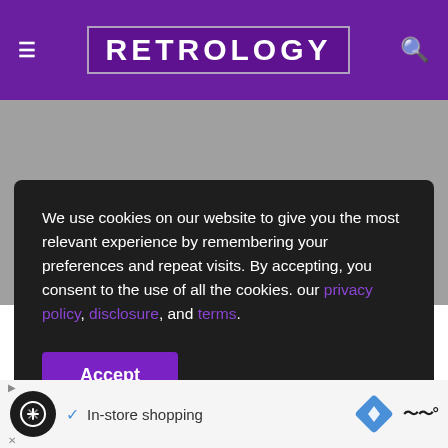RETROLOGY
We use cookies on our website to give you the most relevant experience by remembering your preferences and repeat visits. By accepting, you consent to the use of all the cookies. our privacy policy, disclosure, and terms.
Accept
[Figure (screenshot): Partial game map screenshot showing snowy/icy terrain with markers]
[Figure (screenshot): Advertisement bar at bottom with logos, In-store shopping text, navigation icon, and wavy symbol]